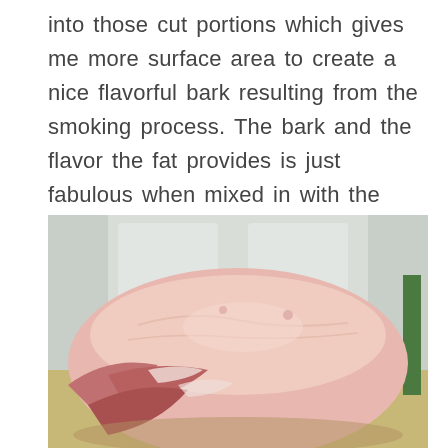into those cut portions which gives me more surface area to create a nice flavorful bark resulting from the smoking process. The bark and the flavor the fat provides is just fabulous when mixed in with the pork when shredded or chopped.
[Figure (photo): A large raw pork shoulder or butt sitting on a surface, with white door panels visible in the background. The meat is pale pink with a thick fat cap on top.]